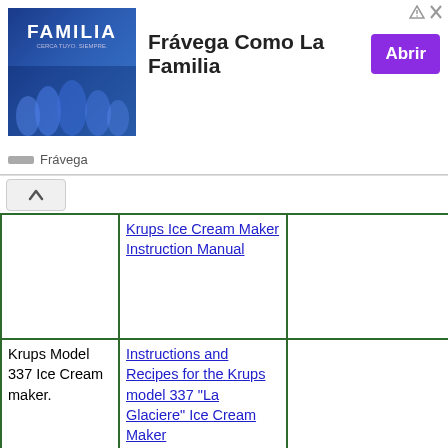[Figure (illustration): Advertisement banner for Frávega Como La Familia with group photo, title text, and Abrir button]
|  | Krups Ice Cream Maker Instruction Manual |  |
| Krups Model 337 Ice Cream maker. | Instructions and Recipes for the Krups model 337 "La Glaciere" Ice Cream Maker |  |
|  | Click here for the Lello Gelato Pro, model 4090 manual by Lello. |  |